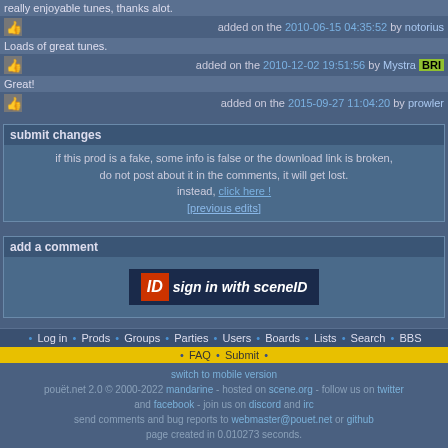really enjoyable tunes, thanks alot.
added on the 2010-06-15 04:35:52 by notorius
Loads of great tunes.
added on the 2010-12-02 19:51:56 by Mystra BRI
Great!
added on the 2015-09-27 11:04:20 by prowler
submit changes
if this prod is a fake, some info is false or the download link is broken, do not post about it in the comments, it will get lost. instead, click here ! [previous edits]
add a comment
[Figure (logo): Sign in with sceneID button]
Log in • Prods • Groups • Parties • Users • Boards • Lists • Search • BBS
FAQ • Submit •
switch to mobile version
pouët.net 2.0 © 2000-2022 mandarine - hosted on scene.org - follow us on twitter and facebook - join us on discord and irc
send comments and bug reports to webmaster@pouet.net or github
page created in 0.010273 seconds.